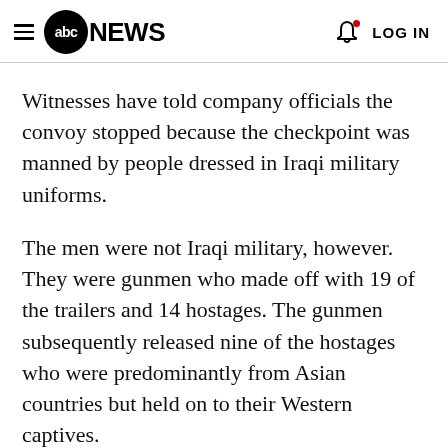abc NEWS  LOG IN
Witnesses have told company officials the convoy stopped because the checkpoint was manned by people dressed in Iraqi military uniforms.
The men were not Iraqi military, however. They were gunmen who made off with 19 of the trailers and 14 hostages. The gunmen subsequently released nine of the hostages who were predominantly from Asian countries but held on to their Western captives.
The Crescent Security spokesman said two of